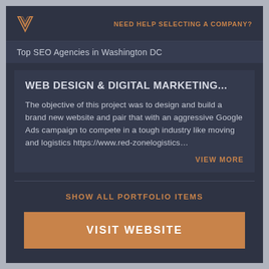NEED HELP SELECTING A COMPANY?
Top SEO Agencies in Washington DC
WEB DESIGN & DIGITAL MARKETING...
The objective of this project was to design and build a brand new website and pair that with an aggressive Google Ads campaign to compete in a tough industry like moving and logistics https://www.red-zonelogistics…
VIEW MORE
SHOW ALL PORTFOLIO ITEMS
VISIT WEBSITE